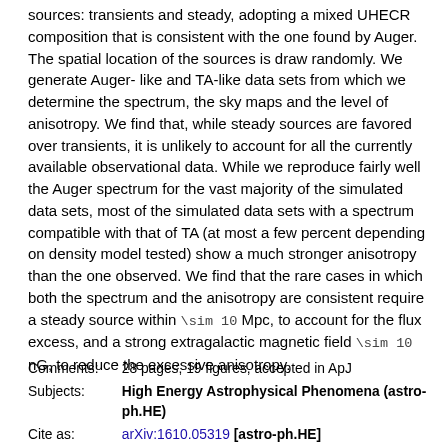sources: transients and steady, adopting a mixed UHECR composition that is consistent with the one found by Auger. The spatial location of the sources is draw randomly. We generate Auger-like and TA-like data sets from which we determine the spectrum, the sky maps and the level of anisotropy. We find that, while steady sources are favored over transients, it is unlikely to account for all the currently available observational data. While we reproduce fairly well the Auger spectrum for the vast majority of the simulated data sets, most of the simulated data sets with a spectrum compatible with that of TA (at most a few percent depending on density model tested) show a much stronger anisotropy than the one observed. We find that the rare cases in which both the spectrum and the anisotropy are consistent require a steady source within \sim 10 Mpc, to account for the flux excess, and a strong extragalactic magnetic field \sim 10 nG, to reduce the excessive anisotropy.
| Label | Value |
| --- | --- |
| Comments: | 28 pages, 19 figures, accepted in ApJ |
| Subjects: | High Energy Astrophysical Phenomena (astro-ph.HE) |
| Cite as: | arXiv:1610.05319 [astro-ph.HE]
(or arXiv:1610.05319v2 [astro-ph.HE] for this version)
https://doi.org/10.48550/arXiv.1610.05319 |
| Related DOI: | https://doi.org/10.3847/1538-4357/836/2/163 |